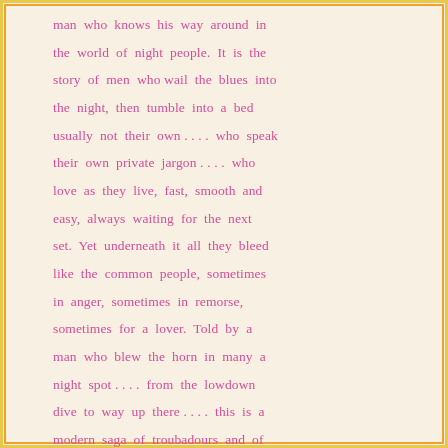man who knows his way around in the world of night people. It is the story of men who wail the blues into the night, then tumble into a bed usually not their own…. who speak their own private jargon…. who love as they live, fast, smooth and easy, always waiting for the next set. Yet underneath it all they bleed like the common people, sometimes in anger, sometimes in remorse, sometimes for a lover. Told by a man who blew the horn in many a night spot…. from the lowdown dive to way up there…. this is a modern saga of troubadours and of one in particular who got the big blues.